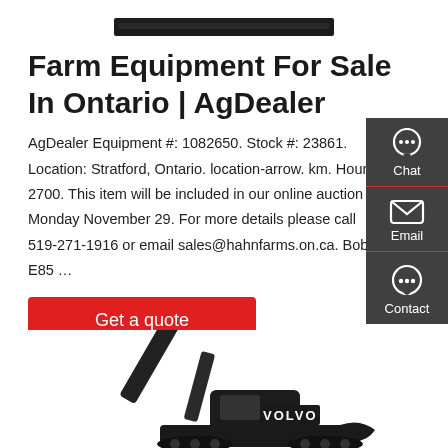[Figure (photo): Top portion of a black excavator machine, cropped at top]
Farm Equipment For Sale In Ontario | AgDealer
AgDealer Equipment #: 1082650. Stock #: 23861. Location: Stratford, Ontario. location-arrow. km. Hours: 2700. This item will be included in our online auction on Monday November 29. For more details please call 519-271-1916 or email sales@hahnfarms.on.ca. Bobcat E85 …
[Figure (other): Red 'Get a quote' button]
[Figure (other): Dark sidebar with Chat, Email, Contact icons on the right side]
[Figure (photo): Bottom portion of a Volvo excavator machine photographed against white background]